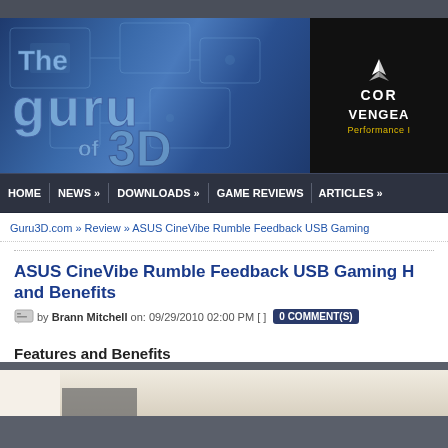[Figure (screenshot): Guru3D website header banner with blue circuit board background and 'The Guru of 3D' logo, alongside a Corsair Vengeance advertisement panel]
HOME | NEWS » | DOWNLOADS » | GAME REVIEWS | ARTICLES »
Guru3D.com » Review » ASUS CineVibe Rumble Feedback USB Gaming
ASUS CineVibe Rumble Feedback USB Gaming H... and Benefits
by Brann Mitchell on: 09/29/2010 02:00 PM [ ] 0 COMMENT(S)
Features and Benefits
[Figure (photo): Partial product image at bottom of page]